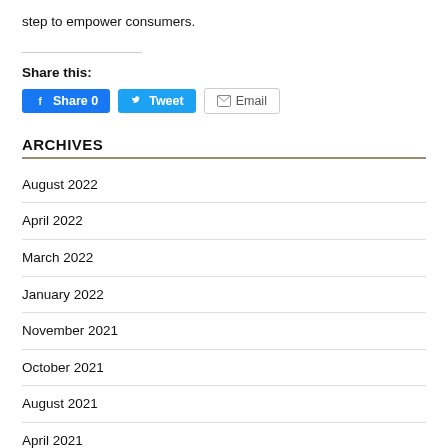step to empower consumers.
Share this:
[Figure (other): Social share buttons: Facebook Share 0, Tweet, Email]
ARCHIVES
August 2022
April 2022
March 2022
January 2022
November 2021
October 2021
August 2021
April 2021